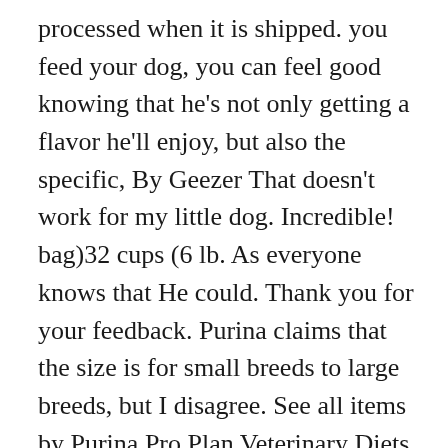processed when it is shipped. you feed your dog, you can feel good knowing that he's not only getting a flavor he'll enjoy, but also the specific, By Geezer That doesn't work for my little dog. Incredible! bag)32 cups (6 lb. As everyone knows that He could. Thank you for your feedback. Purina claims that the size is for small breeds to large breeds, but I disagree. See all items by Purina Pro Plan Veterinary Diets, Watch our Purina Pro Plan Veterinary Diets video. that has been supported by over 500 scientists, including veterinarians, behaviorists and nutritionists. So, I start by putting the dry food in a blender at EVERY FEEDING to reduce it's size, then I add the hot water to let it